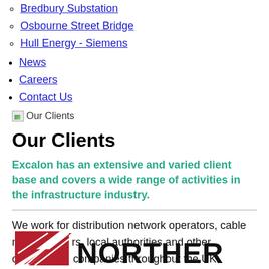Bredbury Substation
Osbourne Street Bridge
Hull Energy - Siemens
News
Careers
Contact Us
[Figure (illustration): Broken image placeholder with green landscape thumbnail labeled 'Our Clients']
Our Clients
Excalon has an extensive and varied client base and covers a wide range of activities in the infrastructure industry.
We work for distribution network operators, cable manufacturers, local authorities and other construction companies throughout the UK.
[Figure (logo): Northern logo with red triangle/chevron mark on the left and the word NORTHERN in large black text]